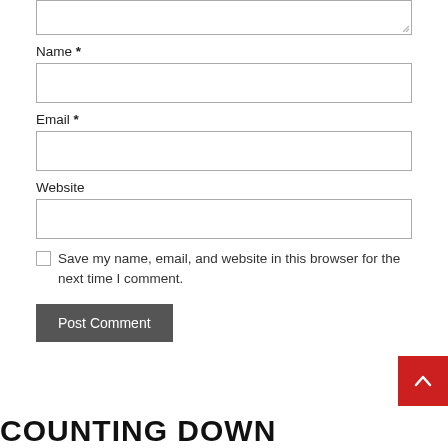Name *
Email *
Website
Save my name, email, and website in this browser for the next time I comment.
Post Comment
COUNTING DOWN